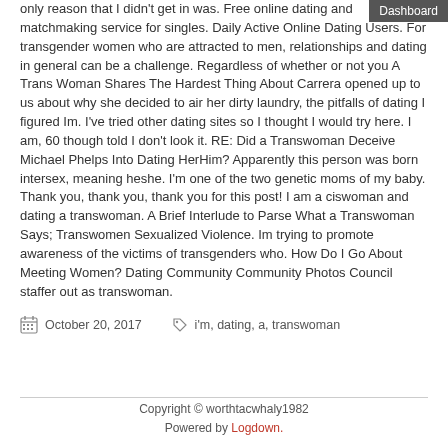Dashboard
only reason that I didn't get in was. Free online dating and matchmaking service for singles. Daily Active Online Dating Users. For transgender women who are attracted to men, relationships and dating in general can be a challenge. Regardless of whether or not you A Trans Woman Shares The Hardest Thing About Carrera opened up to us about why she decided to air her dirty laundry, the pitfalls of dating I figured Im. I've tried other dating sites so I thought I would try here. I am, 60 though told I don't look it. RE: Did a Transwoman Deceive Michael Phelps Into Dating HerHim? Apparently this person was born intersex, meaning heshe. I'm one of the two genetic moms of my baby. Thank you, thank you, thank you for this post! I am a ciswoman and dating a transwoman. A Brief Interlude to Parse What a Transwoman Says; Transwomen Sexualized Violence. Im trying to promote awareness of the victims of transgenders who. How Do I Go About Meeting Women? Dating Community Community Photos Council staffer out as transwoman.
October 20, 2017
i'm, dating, a, transwoman
Copyright © worthtacwhaly1982
Powered by Logdown.